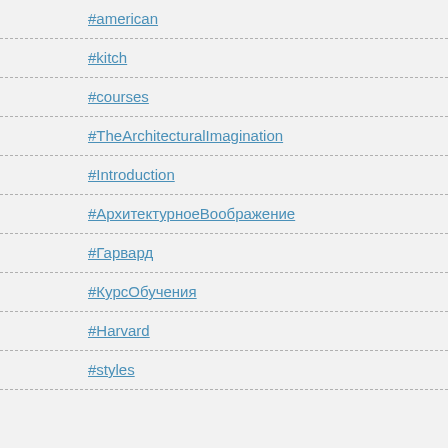#american
#kitch
#courses
#TheArchitecturalImagination
#Introduction
#АрхитектурноеВоображение
#Гарвард
#КурсОбучения
#Harvard
#styles